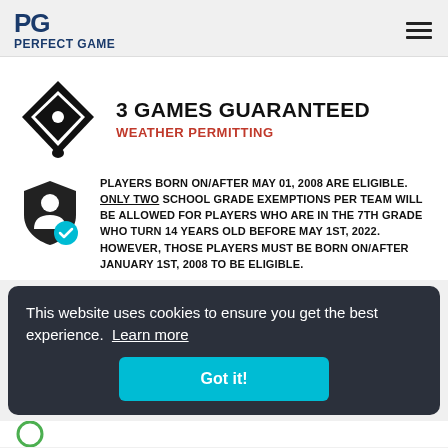PERFECT GAME
3 GAMES GUARANTEED
WEATHER PERMITTING
PLAYERS BORN ON/AFTER MAY 01, 2008 ARE ELIGIBLE. ONLY TWO SCHOOL GRADE EXEMPTIONS PER TEAM WILL BE ALLOWED FOR PLAYERS WHO ARE IN THE 7TH GRADE WHO TURN 14 YEARS OLD BEFORE MAY 1ST, 2022. HOWEVER, THOSE PLAYERS MUST BE BORN ON/AFTER JANUARY 1ST, 2008 TO BE ELIGIBLE.
This website uses cookies to ensure you get the best experience. Learn more
Got it!